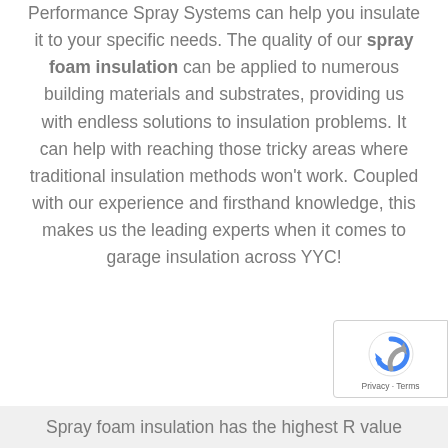Performance Spray Systems can help you insulate it to your specific needs. The quality of our spray foam insulation can be applied to numerous building materials and substrates, providing us with endless solutions to insulation problems. It can help with reaching those tricky areas where traditional insulation methods won't work. Coupled with our experience and firsthand knowledge, this makes us the leading experts when it comes to garage insulation across YYC!
Spray foam insulation has the highest R value